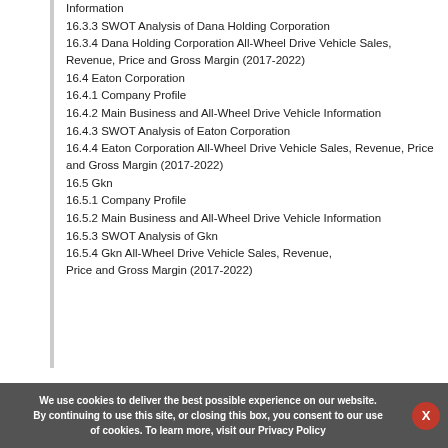16.3.2 Main Business and All-Wheel Drive Vehicle Information
16.3.3 SWOT Analysis of Dana Holding Corporation
16.3.4 Dana Holding Corporation All-Wheel Drive Vehicle Sales, Revenue, Price and Gross Margin (2017-2022)
16.4 Eaton Corporation
16.4.1 Company Profile
16.4.2 Main Business and All-Wheel Drive Vehicle Information
16.4.3 SWOT Analysis of Eaton Corporation
16.4.4 Eaton Corporation All-Wheel Drive Vehicle Sales, Revenue, Price and Gross Margin (2017-2022)
16.5 Gkn
16.5.1 Company Profile
16.5.2 Main Business and All-Wheel Drive Vehicle Information
16.5.3 SWOT Analysis of Gkn
16.5.4 Gkn All-Wheel Drive Vehicle Sales, Revenue, Price and Gross Margin (2017-2022)
We use cookies to deliver the best possible experience on our website. By continuing to use this site, or closing this box, you consent to our use of cookies. To learn more, visit our Privacy Policy